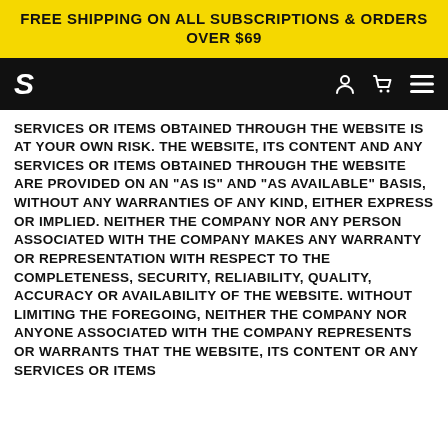FREE SHIPPING ON ALL SUBSCRIPTIONS & ORDERS OVER $69
[Figure (logo): Navigation bar with stylized S logo in white on black background, with person icon, cart icon, and hamburger menu icon]
SERVICES OR ITEMS OBTAINED THROUGH THE WEBSITE IS AT YOUR OWN RISK. THE WEBSITE, ITS CONTENT AND ANY SERVICES OR ITEMS OBTAINED THROUGH THE WEBSITE ARE PROVIDED ON AN "AS IS" AND "AS AVAILABLE" BASIS, WITHOUT ANY WARRANTIES OF ANY KIND, EITHER EXPRESS OR IMPLIED. NEITHER THE COMPANY NOR ANY PERSON ASSOCIATED WITH THE COMPANY MAKES ANY WARRANTY OR REPRESENTATION WITH RESPECT TO THE COMPLETENESS, SECURITY, RELIABILITY, QUALITY, ACCURACY OR AVAILABILITY OF THE WEBSITE. WITHOUT LIMITING THE FOREGOING, NEITHER THE COMPANY NOR ANYONE ASSOCIATED WITH THE COMPANY REPRESENTS OR WARRANTS THAT THE WEBSITE, ITS CONTENT OR ANY SERVICES OR ITEMS